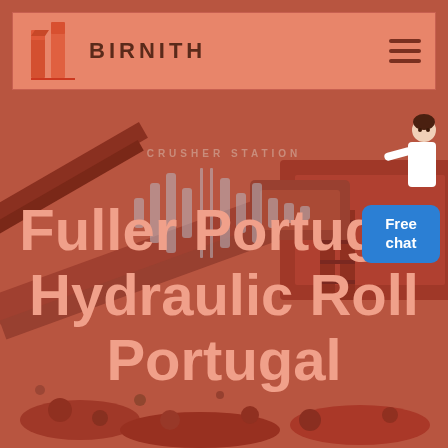[Figure (logo): Birnith company logo with orange/red building icon and brand name BIRNITH in bold dark letters]
BIRNITH
[Figure (photo): Background photo of industrial crushing/mining machinery and equipment, overlaid with reddish-orange color filter. Crusher station equipment visible.]
Fuller Portugal Hydraulic Roll Portugal
[Figure (infographic): Free chat button (blue rounded rectangle) with a person/assistant figure next to it]